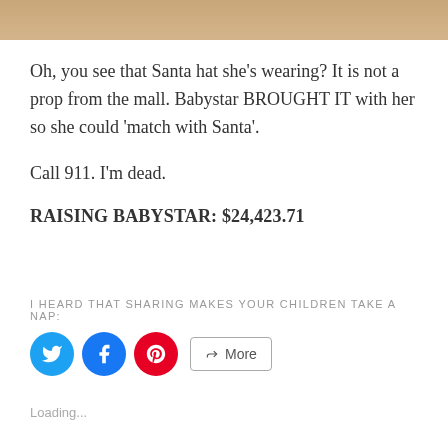[Figure (photo): Top portion of an image, showing a warm tan/beige background, cropped at the bottom]
Oh, you see that Santa hat she’s wearing? It is not a prop from the mall. Babystar BROUGHT IT with her so she could ‘match with Santa’.
Call 911. I’m dead.
RAISING BABYSTAR: $24,423.71
I HEARD THAT SHARING MAKES YOUR CHILDREN TAKE A NAP:
[Figure (other): Social share buttons: Twitter (blue circle), Facebook (blue circle), Pinterest (red circle), and a More button]
Loading...